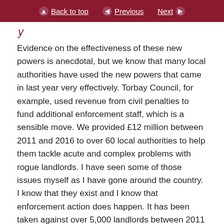Back to top | Previous | Next
y
Evidence on the effectiveness of these new powers is anecdotal, but we know that many local authorities have used the new powers that came in last year very effectively. Torbay Council, for example, used revenue from civil penalties to fund additional enforcement staff, which is a sensible move. We provided £12 million between 2011 and 2016 to over 60 local authorities to help them tackle acute and complex problems with rogue landlords. I have seen some of those issues myself as I have gone around the country. I know that they exist and I know that enforcement action does happen. It has been taken against over 5,000 landlords between 2011 and 2016. That represents a significant proportion of rogue landlords active in